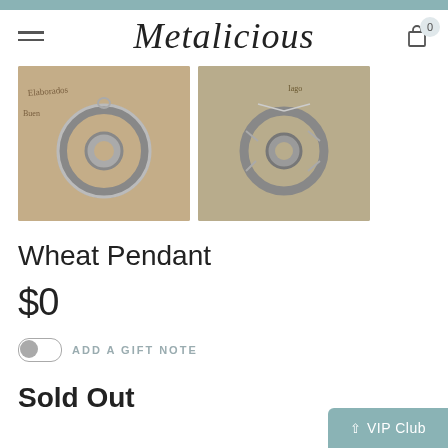Metalicious
[Figure (photo): Two product photos of a silver wheat pendant on an antique-style background with decorative text]
Wheat Pendant
$0
ADD A GIFT NOTE
Sold Out
VIP Club